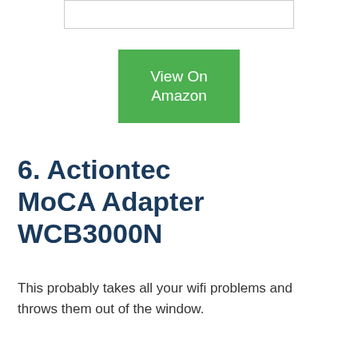[Figure (other): Partial rectangular box visible at the top of the page]
View On Amazon
6. Actiontec MoCA Adapter WCB3000N
This probably takes all your wifi problems and throws them out of the window.